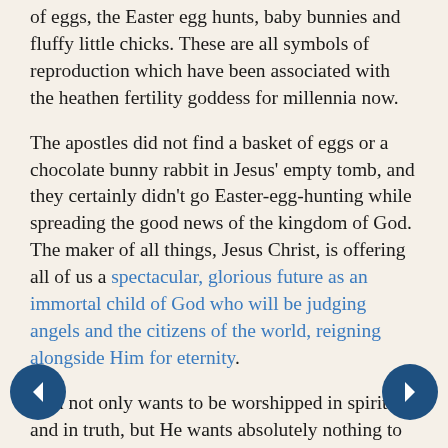of eggs, the Easter egg hunts, baby bunnies and fluffy little chicks. These are all symbols of reproduction which have been associated with the heathen fertility goddess for millennia now.
The apostles did not find a basket of eggs or a chocolate bunny rabbit in Jesus' empty tomb, and they certainly didn't go Easter-egg-hunting while spreading the good news of the kingdom of God. The maker of all things, Jesus Christ, is offering all of us a spectacular, glorious future as an immortal child of God who will be judging angels and the citizens of the world, reigning alongside Him for eternity.
God not only wants to be worshipped in spirit and in truth, but He wants absolutely nothing to do with this phony baloney goddess.
Is it really worth offending your Maker for the pretty-sounding, colorful lie of the